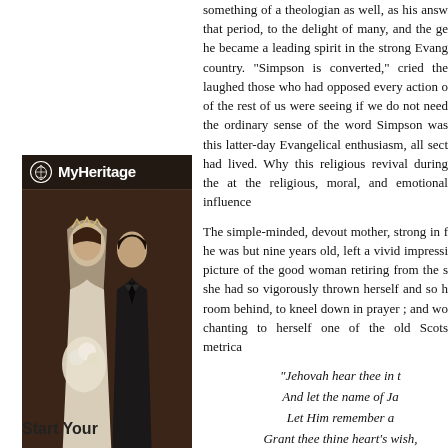something of a theologian as well, as his answ that period, to the delight of many, and the ge he became a leading spirit in the strong Evang country. "Simpson is converted," cried the laughed those who had opposed every action o of the rest of us were seeing if we do not need the ordinary sense of the word Simpson was this latter-day Evangelical enthusiasm, all sect had lived. Why this religious revival during the at the religious, moral, and emotional influence
[Figure (photo): MyHeritage advertisement showing a sepia-toned wedding photo of a bride and groom, with the MyHeritage logo (tree icon) at the top. Caption reads 'Start Your']
The simple-minded, devout mother, strong in f he was but nine years old, left a vivid impressi picture of the good woman retiring from the s she had so vigorously thrown herself and so h room behind, to kneel down in prayer ; and wo chanting to herself one of the old Scots metrica
"Jehovah hear thee in t
And let the name of Ja
Let Him remember a
Grant thee thine heart's wish,
He used to relate one memory of her, touching a big hole in his stocking which she perceived repaired garment on she said, "My Jamie, w grand darner." He remembered the words as i offered to a lady who had established a girls' darning.